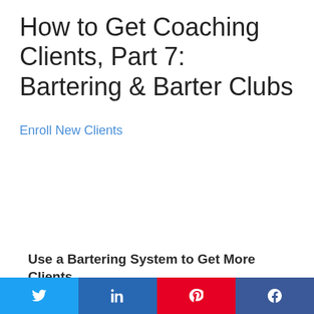How to Get Coaching Clients, Part 7: Bartering & Barter Clubs
Enroll New Clients
[Figure (other): Audio player widget with orange play button, text 'Listen to this content Sponsored by CEF-Platinum', progress bar, and time display '00:00 / 10:09']
Use a Bartering System to Get More Clients
[Figure (other): Social share buttons: Twitter (blue), LinkedIn (dark blue), Pinterest (red), Facebook (blue)]